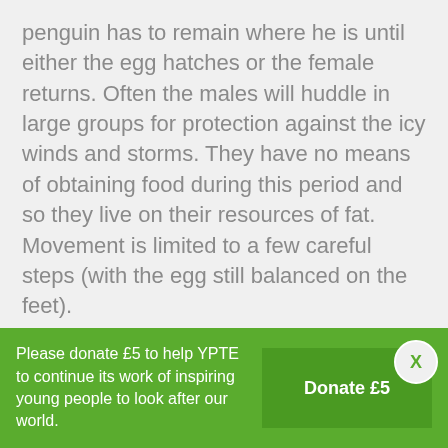penguin has to remain where he is until either the egg hatches or the female returns. Often the males will huddle in large groups for protection against the icy winds and storms. They have no means of obtaining food during this period and so they live on their resources of fat. Movement is limited to a few careful steps (with the egg still balanced on the feet).
The female remains at sea for about seven or eight weeks before returning, well fed, to the colony. She is able to locate her mate despite the large number of now very emaciated males present and she then takes over the final stages of incubation.
Please donate £5 to help YPTE to continue its work of inspiring young people to look after our world.